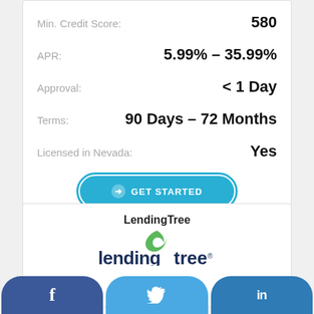| Field | Value |
| --- | --- |
| Min. Credit Score: | 580 |
| APR: | 5.99% – 35.99% |
| Approval: | < 1 Day |
| Terms: | 90 Days – 72 Months |
| Licensed in Nevada: | Yes |
GET STARTED
LendingTree
[Figure (logo): LendingTree logo with green leaf and lowercase lendingtree® wordmark]
[Figure (other): 5 blue star rating icons]
f  (Twitter bird)  in